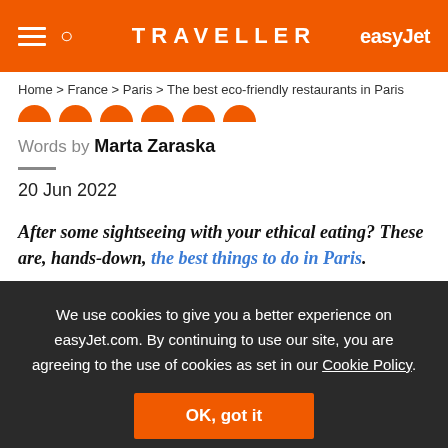TRAVELLER | easyJet
Home > France > Paris > The best eco-friendly restaurants in Paris
Words by Marta Zaraska
20 Jun 2022
After some sightseeing with your ethical eating? These are, hands-down, the best things to do in Paris.
We use cookies to give you a better experience on easyJet.com. By continuing to use our site, you are agreeing to the use of cookies as set in our Cookie Policy.